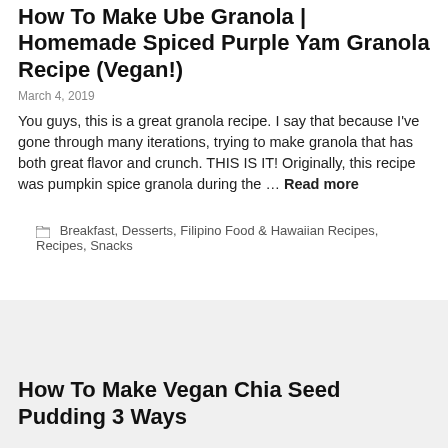How To Make Ube Granola | Homemade Spiced Purple Yam Granola Recipe (Vegan!)
March 4, 2019
You guys, this is a great granola recipe. I say that because I've gone through many iterations, trying to make granola that has both great flavor and crunch. THIS IS IT! Originally, this recipe was pumpkin spice granola during the … Read more
Breakfast, Desserts, Filipino Food & Hawaiian Recipes, Recipes, Snacks
How To Make Vegan Chia Seed Pudding 3 Ways